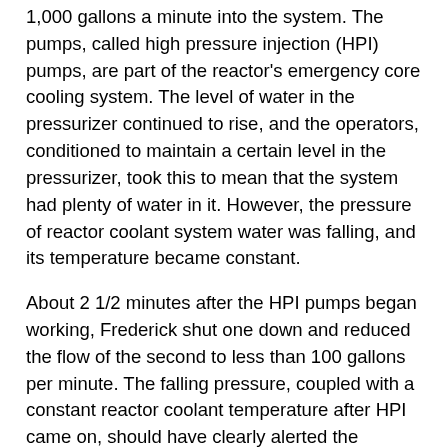1,000 gallons a minute into the system. The pumps, called high pressure injection (HPI) pumps, are part of the reactor's emergency core cooling system. The level of water in the pressurizer continued to rise, and the operators, conditioned to maintain a certain level in the pressurizer, took this to mean that the system had plenty of water in it. However, the pressure of reactor coolant system water was falling, and its temperature became constant.
About 2 1/2 minutes after the HPI pumps began working, Frederick shut one down and reduced the flow of the second to less than 100 gallons per minute. The falling pressure, coupled with a constant reactor coolant temperature after HPI came on, should have clearly alerted the operators that TMI-2 had suffered a LOCA, and safety required they maintain high pressure injection. "The rapidly increasing pressurizer level at the onset of the accident led me to believe that the high pressure injection was excessive, and that we were soon going to have a solid system," Frederick later told the Commission.
A solid system is one in which the entire reactor and its